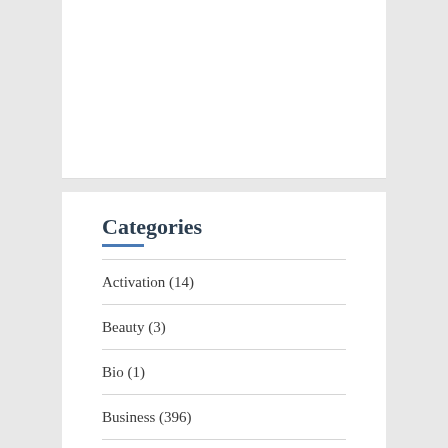Categories
Activation (14)
Beauty (3)
Bio (1)
Business (396)
Digital Marketing (99)